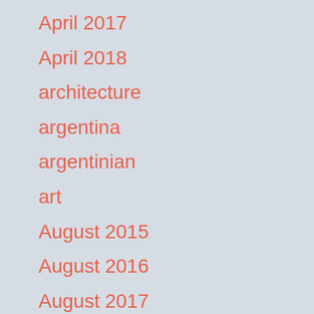April 2017
April 2018
architecture
argentina
argentinian
art
August 2015
August 2016
August 2017
August 2018
Australia
Australian
Austria